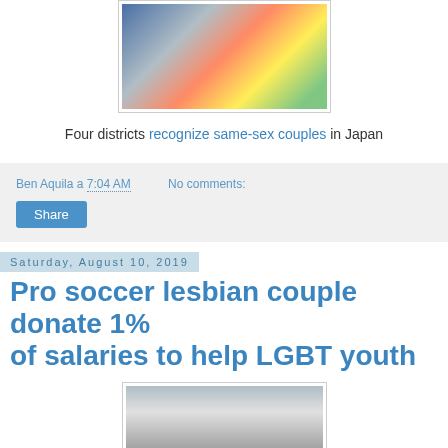[Figure (photo): Photo of people at a Pride parade in Japan, one person wearing a rainbow flag and holding a sign]
Four districts recognize same-sex couples in Japan
Ben Aquila a 7:04 AM    No comments:
Share
Saturday, August 10, 2019
Pro soccer lesbian couple donate 1% of salaries to help LGBT youth
[Figure (photo): Photo of two smiling women standing together outdoors]